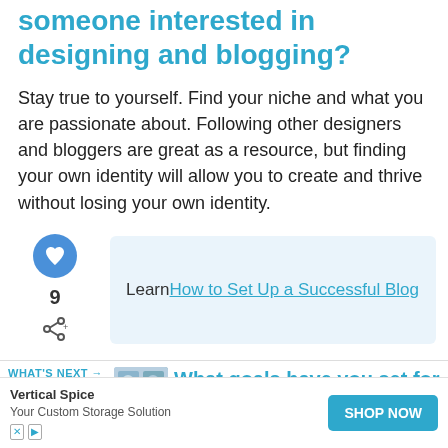someone interested in designing and blogging?
Stay true to yourself. Find your niche and what you are passionate about. Following other designers and bloggers are great as a resource, but finding your own identity will allow you to create and thrive without losing your own identity.
Learn How to Set Up a Successful Blog
What goals have you set for yourself for the future?
To rela... g. And m... lf!
Vertical Spice
Your Custom Storage Solution
SHOP NOW